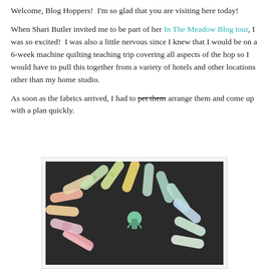Welcome, Blog Hoppers!  I'm so glad that you are visiting here today!
When Shari Butler invited me to be part of her In The Meadow Blog tour, I was so excited!  I was also a little nervous since I knew that I would be on a 6-week machine quilting teaching trip covering all aspects of the hop so I would have to pull this together from a variety of hotels and other locations other than my home studio.
As soon as the fabrics arrived, I had to pet them arrange them and come up with a plan quickly.
[Figure (photo): Photo of colorful fabric rolls arranged in a semicircle on a dark background, with a small decorative figure in the center.]